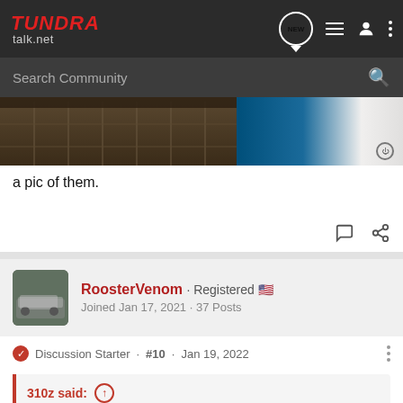TUNDRA talk.net
Search Community
[Figure (photo): Partial photo of shelving/storage unit with dark wood and blue/white materials visible]
a pic of them.
RoosterVenom · Registered
Joined Jan 17, 2021 · 37 Posts
Discussion Starter · #10 · Jan 19, 2022
310z said:
They look great but you do not mention what brand they are or what they are made out of.